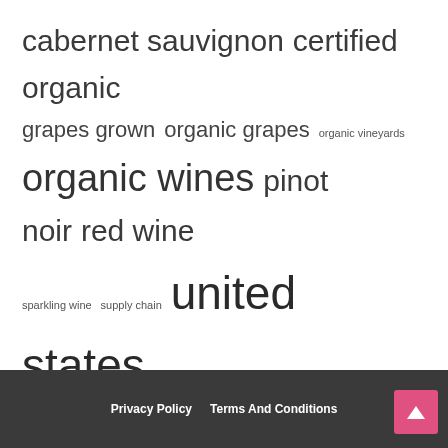[Figure (infographic): Tag cloud with wine-related keywords in various font sizes indicating frequency/importance. Terms include: cabernet sauvignon, certified organic, grapes grown, organic grapes, organic vineyards, organic wines, pinot noir, red wine, sparkling wine, supply chain, united states, white wine, wine brands, wine industry, wine market, wine organic, wine producers, wine production.]
Privacy Policy   Terms And Conditions